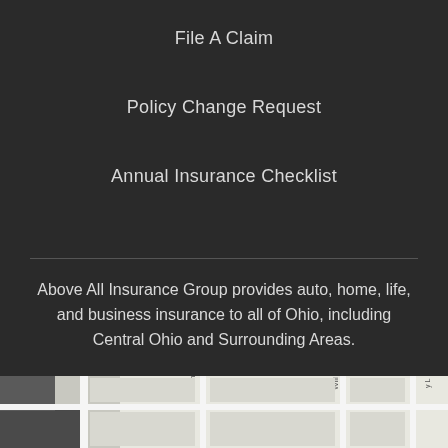File A Claim
Policy Change Request
Annual Insurance Checklist
Above All Insurance Group provides auto, home, life, and business insurance to all of Ohio, including Central Ohio and Surrounding Areas.
[Figure (map): Street map showing Drew Ave area with roads including Arch and Will streets visible]